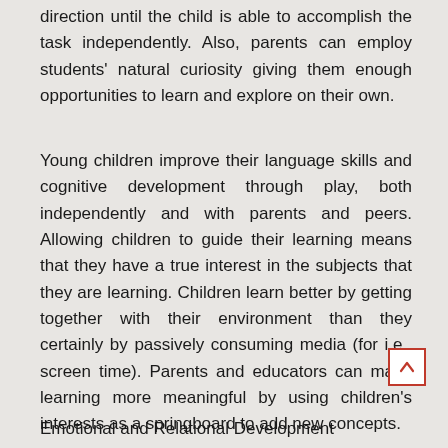direction until the child is able to accomplish the task independently. Also, parents can employ students' natural curiosity giving them enough opportunities to learn and explore on their own.
Young children improve their language skills and cognitive development through play, both independently and with parents and peers. Allowing children to guide their learning means that they have a true interest in the subjects that they are learning. Children learn better by getting together with their environment than they certainly by passively consuming media (for i.e., screen time). Parents and educators can make learning more meaningful by using children's interests as a springboard to add new concepts.
Emotional and Relational Development